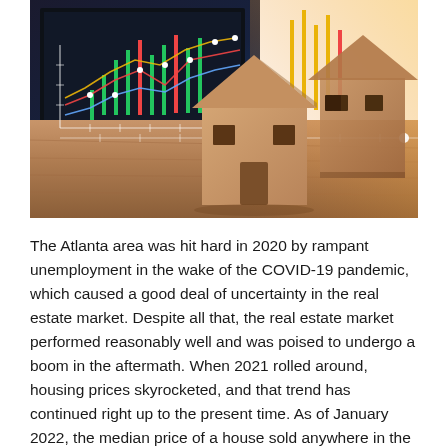[Figure (photo): Composite photo showing cardboard house models on wooden planks with an overlay of stock market chart lines (red, blue, yellow, green candlestick-style chart with white dot markers) and a laptop screen in the background, suggesting real estate market data/analytics.]
The Atlanta area was hit hard in 2020 by rampant unemployment in the wake of the COVID-19 pandemic, which caused a good deal of uncertainty in the real estate market. Despite all that, the real estate market performed reasonably well and was poised to undergo a boom in the aftermath. When 2021 rolled around, housing prices skyrocketed, and that trend has continued right up to the present time. As of January 2022, the median price of a house sold anywhere in the 11-county Atlanta region was $375,000. This growth